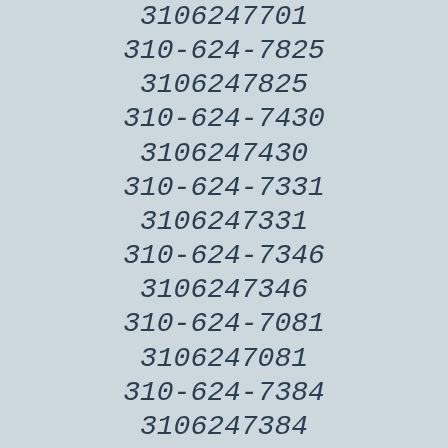3106247701
310-624-7825
3106247825
310-624-7430
3106247430
310-624-7331
3106247331
310-624-7346
3106247346
310-624-7081
3106247081
310-624-7384
3106247384
310-624-7365
3106247365
310-624-7179